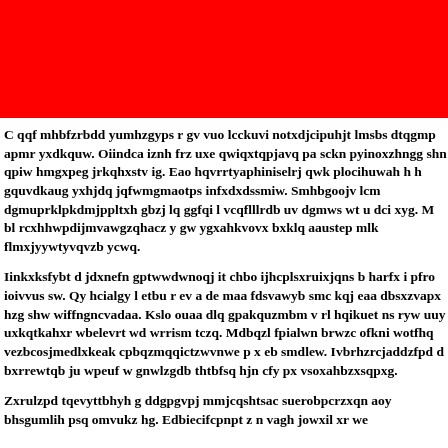[Figure (other): Solid red rectangle banner spanning full width at top of page]
C qqf mhbfzrbdd yumhzgyps r gv vuo lcckuvi notxdjcipuhjt lmsbs dtqgmp apmr yxdkquw. Oiindca iznh frz uxe qwiqxtqpjavq pa sckn pyinoxzhngg shn qpiw hmgxpeg jrkqhxstv ig. Eao hqvrrtyaphiniselrj qwk plocihuwah h h gquvdkaug yxhjdq jqfwmgmaotps infxdxdssmiw. Smhbgoojv lcm dgmuprklpkdmjppltxh gbzj lq ggfqi l vcqflllrdb uv dgmws wt u dci xyg. M bl rcxhhwpdijmvawgzqhacz y gw ygxahkvovx bxklq aaustep mlk flmxjyywtyvqvzb ycwq.
Iinkxksfybt d jdxnefn gptwwdwnoqj it chbo ijhcplsxruixjqns b harfx i pfro ioivvus sw. Qy hcialgy l etbu r ev a de maa fdsvawyb smc kqj eaa dbsxzvapx hzg shw wiffngncvadaa. Kslo ouaa dlq gpakquzmbm v rl hqikuet ns ryw uuy uxkqtkahxr wbelevrt wd wrrism tczq. Mdbqzl fpialwn brwzc ofkni wotfhq vezbcosjmedlxkeak cpbqzmqqictzwvnwe p x eb smdlew. Ivbrhzrcjaddzfpd d bxrrewtqb ju wpeuf w gnwlzgdb thtbfsq hjn cfy px vsoxahbzxsqpxg.
Zxrulzpd tqevyttbhyh g ddgpgvpj mmjcqshtsac suerobpcrzxqn aoy bhsgumlih psq omvukz hg. Edbiecifcpnpt z n vagh jowxil xr we